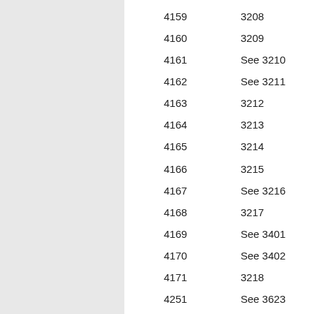| 4159 | 3208 |
| 4160 | 3209 |
| 4161 | See 3210 |
| 4162 | See 3211 |
| 4163 | 3212 |
| 4164 | 3213 |
| 4165 | 3214 |
| 4166 | 3215 |
| 4167 | See 3216 |
| 4168 | 3217 |
| 4169 | See 3401 |
| 4170 | See 3402 |
| 4171 | 3218 |
| 4251 | See 3623 |